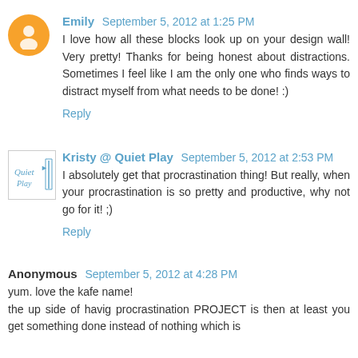Emily  September 5, 2012 at 1:25 PM
I love how all these blocks look up on your design wall! Very pretty! Thanks for being honest about distractions. Sometimes I feel like I am the only one who finds ways to distract myself from what needs to be done! :)
Reply
Kristy @ Quiet Play  September 5, 2012 at 2:53 PM
I absolutely get that procrastination thing! But really, when your procrastination is so pretty and productive, why not go for it! ;)
Reply
Anonymous  September 5, 2012 at 4:28 PM
yum. love the kafe name!
the up side of havig procrastination PROJECT is then at least you get something done instead of nothing which is